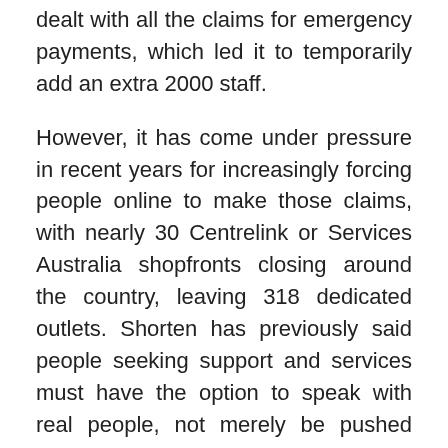dealt with all the claims for emergency payments, which led it to temporarily add an extra 2000 staff.
However, it has come under pressure in recent years for increasingly forcing people online to make those claims, with nearly 30 Centrelink or Services Australia shopfronts closing around the country, leaving 318 dedicated outlets. Shorten has previously said people seeking support and services must have the option to speak with real people, not merely be pushed onto a website or sit in an automated phone queue.